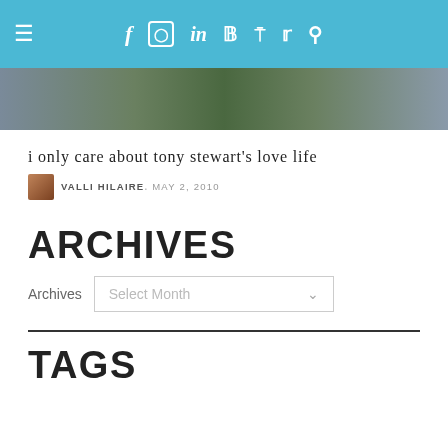Navigation bar with hamburger menu and social icons: Facebook, Instagram, LinkedIn, Pinterest, RSS, Twitter, Search
[Figure (photo): Partial photo strip showing people at the top of the page]
i only care about tony stewart's love life
VALLI HILAIRE, MAY 2, 2010
ARCHIVES
Archives  Select Month
TAGS